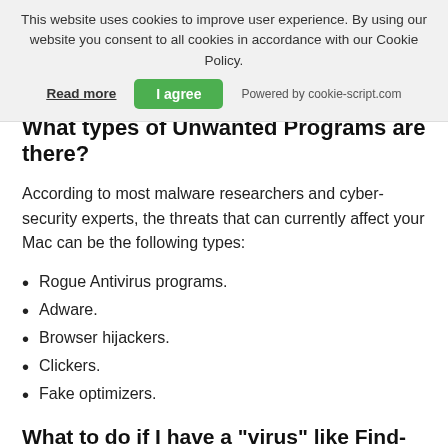This website uses cookies to improve user experience. By using our website you consent to all cookies in accordance with our Cookie Policy.
Read more   I agree   Powered by cookie-script.com
What types of Unwanted Programs are there?
According to most malware researchers and cyber-security experts, the threats that can currently affect your Mac can be the following types:
Rogue Antivirus programs.
Adware.
Browser hijackers.
Clickers.
Fake optimizers.
What to do if I have a "virus" like Find-it.pro Redirect?
Do not panic! You can easily get rid of most